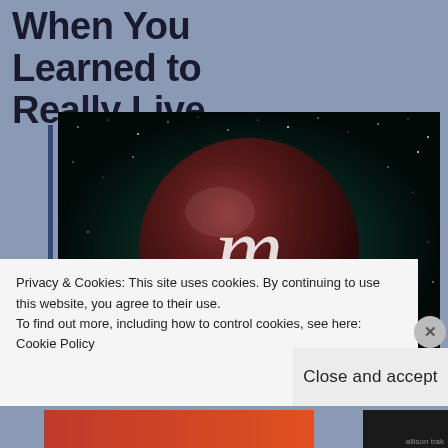When You Learned to Really Live
[Figure (illustration): A dark reddish-brown sphere with a glowing Scorpio zodiac symbol (m) on it, set against a dark starry space background with teal/green nebula glow.]
Privacy & Cookies: This site uses cookies. By continuing to use this website, you agree to their use.
To find out more, including how to control cookies, see here: Cookie Policy
Close and accept